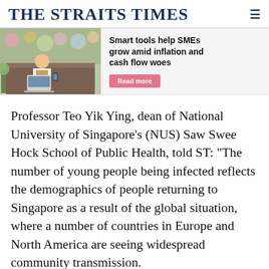THE STRAITS TIMES
[Figure (illustration): Advertisement banner showing a person working at a laptop in a flower shop, with text: Smart tools help SMEs grow amid inflation and cash flow woes. Read more button.]
Professor Teo Yik Ying, dean of National University of Singapore's (NUS) Saw Swee Hock School of Public Health, told ST: "The number of young people being infected reflects the demographics of people returning to Singapore as a result of the global situation, where a number of countries in Europe and North America are seeing widespread community transmission.
"A large segment of the people coming into